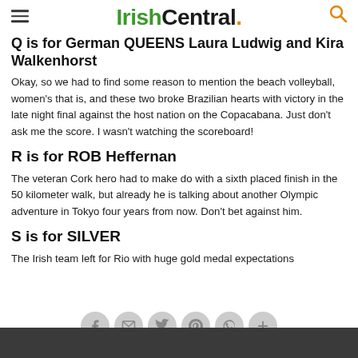IrishCentral.
Q is for German QUEENS Laura Ludwig and Kira Walkenhorst
Okay, so we had to find some reason to mention the beach volleyball, women's that is, and these two broke Brazilian hearts with victory in the late night final against the host nation on the Copacabana. Just don't ask me the score. I wasn't watching the scoreboard!
R is for ROB Heffernan
The veteran Cork hero had to make do with a sixth placed finish in the 50 kilometer walk, but already he is talking about another Olympic adventure in Tokyo four years from now. Don't bet against him.
S is for SILVER
The Irish team left for Rio with huge gold medal expectations